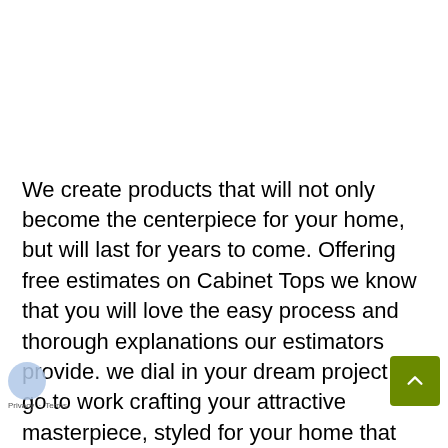We create products that will not only become the centerpiece for your home, but will last for years to come. Offering free estimates on Cabinet Tops we know that you will love the easy process and thorough explanations our estimators provide. we dial in your dream project we go to work crafting your attractive masterpiece, styled for your home that